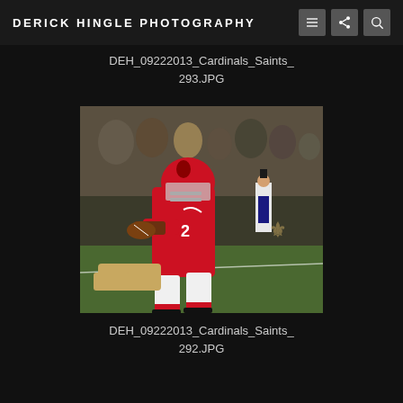DERICK HINGLE PHOTOGRAPHY
DEH_09222013_Cardinals_Saints_293.JPG
[Figure (photo): Arizona Cardinals football player in red uniform carrying the ball during a game against the New Orleans Saints, with a referee and crowd in the background.]
DEH_09222013_Cardinals_Saints_292.JPG